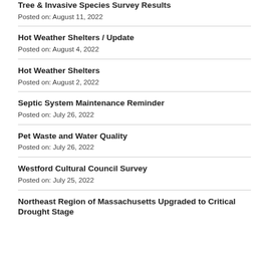Tree & Invasive Species Survey Results
Posted on: August 11, 2022
Hot Weather Shelters / Update
Posted on: August 4, 2022
Hot Weather Shelters
Posted on: August 2, 2022
Septic System Maintenance Reminder
Posted on: July 26, 2022
Pet Waste and Water Quality
Posted on: July 26, 2022
Westford Cultural Council Survey
Posted on: July 25, 2022
Northeast Region of Massachusetts Upgraded to Critical Drought Stage